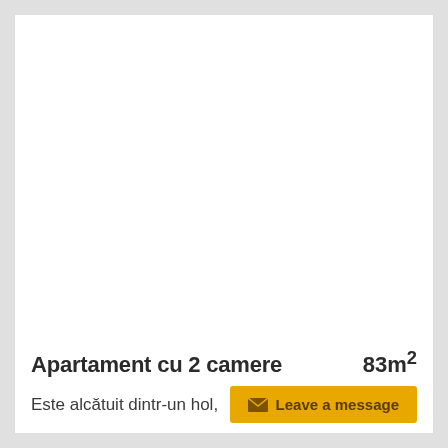[Figure (photo): White/blank photo area for apartment listing]
Apartament cu 2 camere    83m²
Este alcătuit dintr-un hol, …